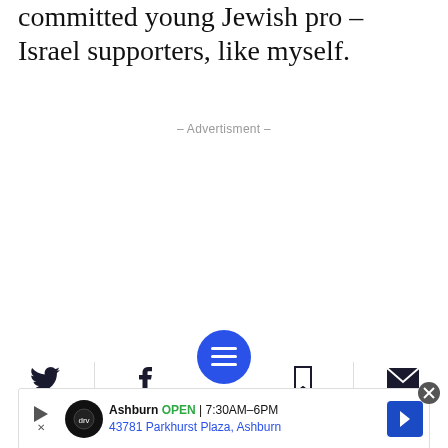committed young Jewish pro – Israel supporters, like myself.
- Advertisment -
[Figure (screenshot): Website toolbar with Twitter, Facebook, hamburger menu (blue circle), bookmark, and email icons. Below is an advertisement banner for a business in Ashburn showing 'OPEN 7:30AM–6PM' and '43781 Parkhurst Plaza, Ashburn'.]